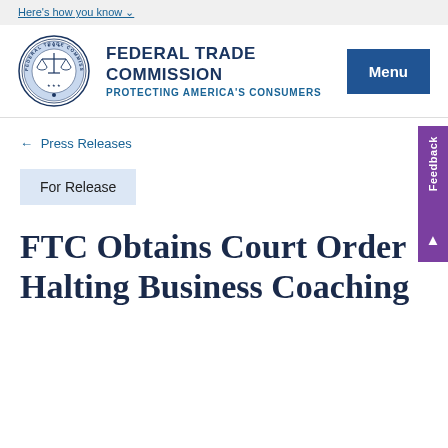Here's how you know
[Figure (logo): Federal Trade Commission circular seal/logo]
FEDERAL TRADE COMMISSION PROTECTING AMERICA'S CONSUMERS
← Press Releases
For Release
FTC Obtains Court Order Halting Business Coaching